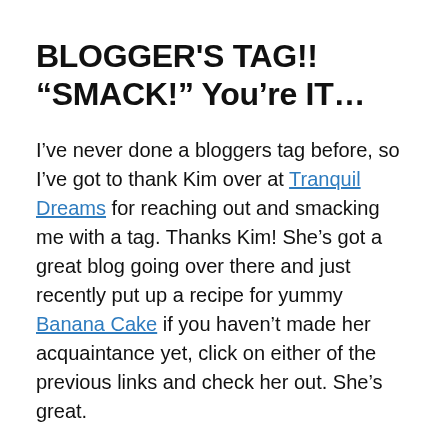BLOGGER'S TAG!! “SMACK!” You’re IT…
I’ve never done a bloggers tag before, so I’ve got to thank Kim over at Tranquil Dreams for reaching out and smacking me with a tag. Thanks Kim! She’s got a great blog going over there and just recently put up a recipe for yummy Banana Cake if you haven’t made her acquaintance yet, click on either of the previous links and check her out. She’s great.